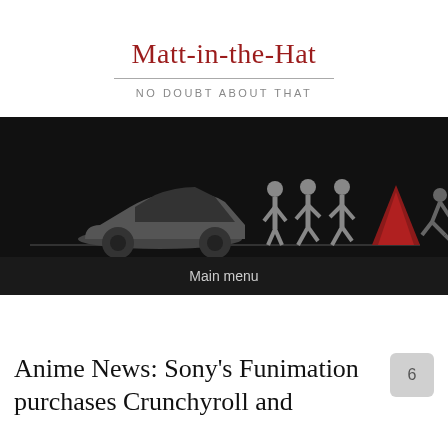Matt-in-the-Hat
NO DOUBT ABOUT THAT
[Figure (illustration): Black banner image with silhouette figures: a grey low-rider car on the left, three walking human silhouettes in the middle, a red tent shape, and a running/jumping figure on the right, all on a dark background with a thin horizontal line separating them from the menu bar.]
Main menu
Anime News: Sony's Funimation purchases Crunchyroll and